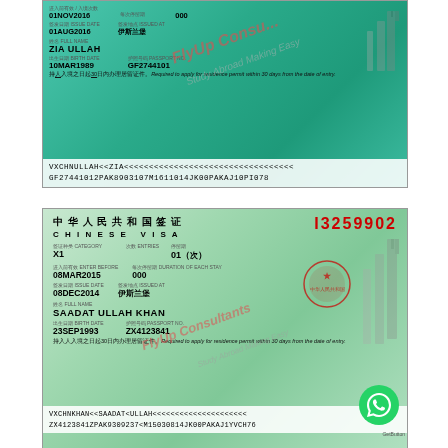[Figure (photo): Chinese visa document (top) for ZIA ULLAH, passport GF2744101, DOB 10MAR1989, issue date 01AUG2016, enter before 01NOV2016, issued at Islamabad (伊斯兰堡). MRZ lines: VXCHNULLAH<<ZIA<<<<<<<<<<<<<<<<<<<<<<<<<<<< and GF27441012PAK8903107M1611014JK00PAKAJ10PI078. Watermark: FlyUp Consultants / Study Abroad Making Easy.]
[Figure (photo): Chinese visa document (bottom) for SAADAT ULLAH KHAN, visa number I3259902, category X1, entries 01(次), enter before 08MAR2015, duration 000, issue date 08DEC2014, issued at Islamabad (伊斯兰堡), passport ZX4123841, DOB 23SEP1993. MRZ lines: VXCHNKHAN<<SAADAT<ULLAH<<<<<<<<<<<<<<<<<. Watermark: FlyUp Consultants / Study Abroad Making Easy. WhatsApp button visible bottom right.]